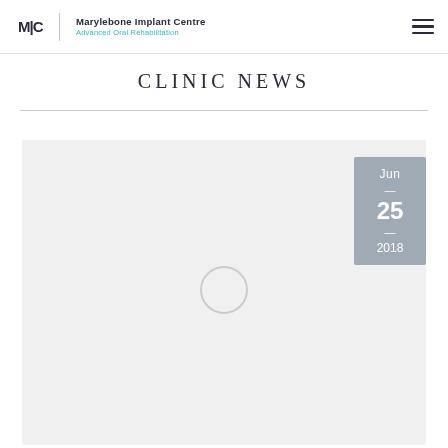Marylebone Implant Centre | Advanced Oral Rehabilitation
CLINIC NEWS
[Figure (screenshot): Website screenshot of Marylebone Implant Centre clinic news page showing a grey card placeholder with a date badge reading Jun 25 2018 and a loading spinner circle in the center of the card.]